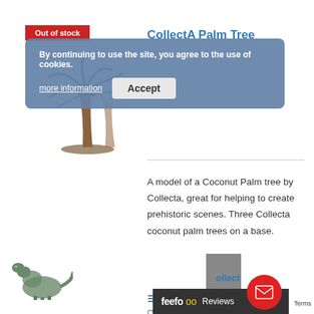[Figure (screenshot): Product page for CollectA Palm Tree showing product image, cookie consent banner, price, description, and bottom navigation bar with Feefo reviews widget.]
Out of stock
CollectA Palm Tree
£18.16
By continuing to use the site, you agree to the use of cookies.
more information
Accept
A model of a Coconut Palm tree by Collecta, great for helping to create prehistoric scenes. Three Collecta coconut palm trees on a base.
Details
Add to Wishlist
feefo Reviews